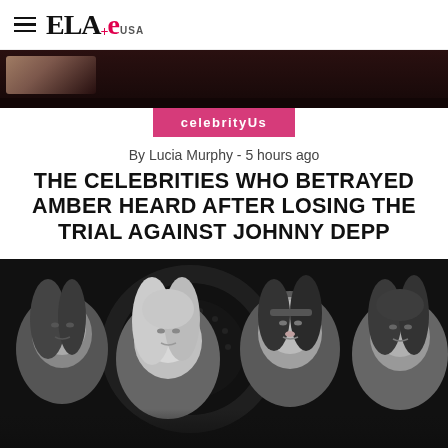ELLA+e USA
[Figure (photo): Partial top image showing dark background with a wrist/arm detail]
celebrityUs
By Lucia Murphy - 5 hours ago
THE CELEBRITIES WHO BETRAYED AMBER HEARD AFTER LOSING THE TRIAL AGAINST JOHNNY DEPP
[Figure (photo): Black and white photo of four young women posing together in a dark venue with EXIT sign visible in the background]